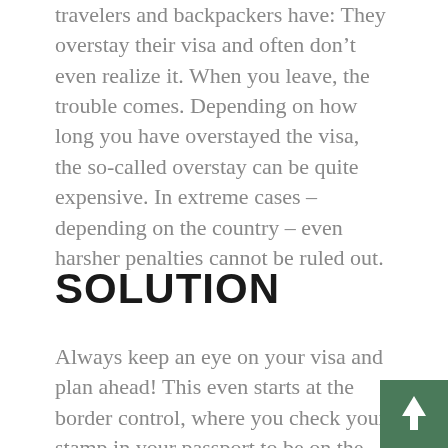travelers and backpackers have: They overstay their visa and often don't even realize it. When you leave, the trouble comes. Depending on how long you have overstayed the visa, the so-called overstay can be quite expensive. In extreme cases – depending on the country – even harsher penalties cannot be ruled out.
SOLUTION
Always keep an eye on your visa and plan ahead! This even starts at the border control, where you check your stamp in your passport to be on the safe side. Even a border guard can